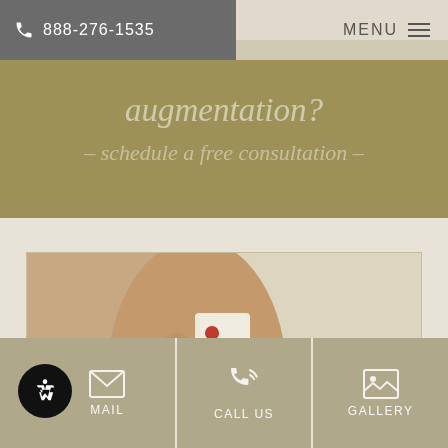888-276-1535  MENU
augmentation? – schedule a free consultation –
[Figure (photo): Photo of a person in a white polka-dot bikini, viewed from the back/side, hands on hips, showing torso area relevant to a plastic surgery / body augmentation context.]
EMAIL  CALL US  GALLERY